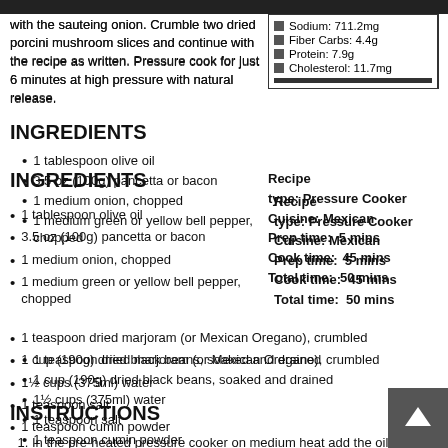with the sauteing onion. Crumble two dried porcini mushroom slices and continue with the recipe as written. Pressure cook for just 6 minutes at high pressure with natural release.
| Sodium: 711.2mg |
| Fiber Carbs: 4.4g |
| Protein: 7.9g |
| Cholesterol: 11.7mg |
INGREDIENTS
Recipe type: Pressure Cooker
Cuisine: Mexican
Prep time: 5 mins
Cook time: 45 mins
Total time: 50 mins
1 tablespoon olive oil
3.5 oz (100g) pancetta or bacon
1 medium onion, chopped
1 medium green or yellow bell pepper, chopped
1 teaspoon dried marjoram (or Mexican Oregano), crumbled
1 cup (190g) dried black beans, soaked and drained
1½ cups (375ml) water
1 teaspoon salt
1 teaspoon cumin powder
INSTRUCTIONS
In the pre-heated pressure cooker on medium heat add the oil and pancetta and saute' until the pancetta becomes crispy (about 5 minutes). Then, add onion, bell pepper, and marjoram and sauté the onion until it